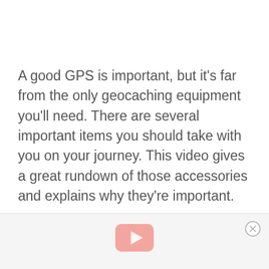A good GPS is important, but it's far from the only geocaching equipment you'll need. There are several important items you should take with you on your journey. This video gives a great rundown of those accessories and explains why they're important.
[Figure (screenshot): Bottom section showing a YouTube video thumbnail area with a pink/salmon YouTube play button icon centered, and a circular close/dismiss button (X) in the top-right corner, on a light gray background.]